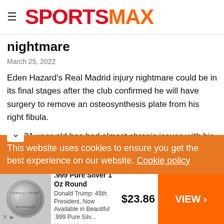SPORTSMAX
nightmare
March 25, 2022
Eden Hazard's Real Madrid injury nightmare could be in its final stages after the club confirmed he will have surgery to remove an osteosynthesis plate from his right fibula.
The 31-year-old has had almost chronic issues with his ankle in recent years, breaking it while on international duty with Belgium in 2017 and requiring a small metal plate to be implanted as a
This website uses cookies to ensure you get the best experience on our website. Cookie policy
ney policy
[Figure (other): Advertisement for President Trump .999 Pure Silver 1 Oz Round coin. Price: $23.86. Sold by Money Metals Exchange. VIEW button on orange background.]